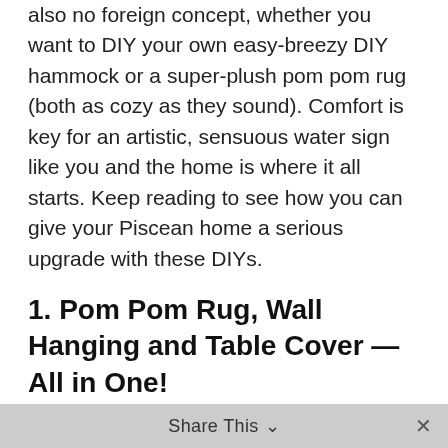also no foreign concept, whether you want to DIY your own easy-breezy DIY hammock or a super-plush pom pom rug (both as cozy as they sound). Comfort is key for an artistic, sensuous water sign like you and the home is where it all starts. Keep reading to see how you can give your Piscean home a serious upgrade with these DIYs.
1. Pom Pom Rug, Wall Hanging and Table Cover — All in One!
https://www.instagram.com/p/BddxoSaFqpE/
Talk about versatile! You can warm up your wall or your floor with this multi-functional blue ombre rug. Its plush texture meets Pisces #1 criteria: the cozy factor. Want to try this? Click here for the tutorial
Share This ∨  ×